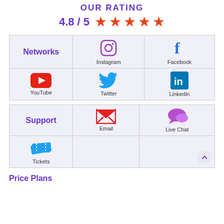OUR RATING
4.8 / 5 ★★★★★
| Networks | Instagram | Facebook |
| --- | --- | --- |
| YouTube | Twitter | Linkedin |
| Support | Email | Live Chat |
| --- | --- | --- |
| Tickets |  |  |
Price Plans